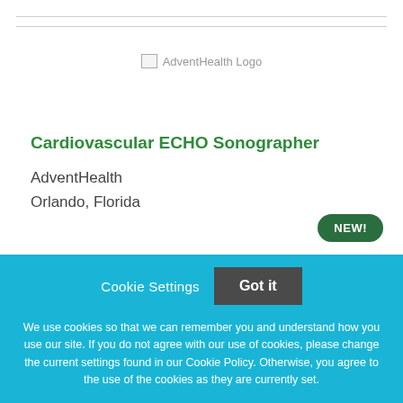[Figure (logo): AdventHealth Logo placeholder image]
Cardiovascular ECHO Sonographer
AdventHealth
Orlando, Florida
NEW!
Cookie Settings  Got it
We use cookies so that we can remember you and understand how you use our site. If you do not agree with our use of cookies, please change the current settings found in our Cookie Policy. Otherwise, you agree to the use of the cookies as they are currently set.